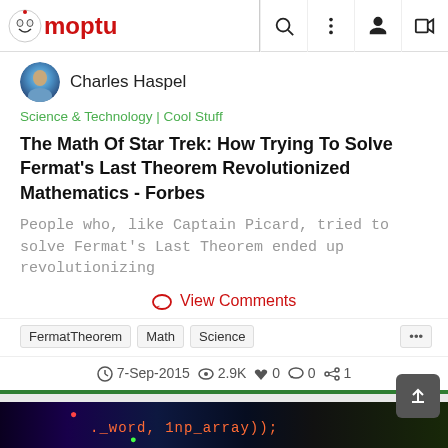Moptu
Charles Haspel
Science & Technology | Cool Stuff
The Math Of Star Trek: How Trying To Solve Fermat's Last Theorem Revolutionized Mathematics - Forbes
People who, like Captain Picard, tried to solve Fermat's Last Theorem ended up revolutionizing
View Comments
FermatTheorem
Math
Science
7-Sep-2015  2.9K  ♥ 0  💬 0  🔀 1
View as Desktop